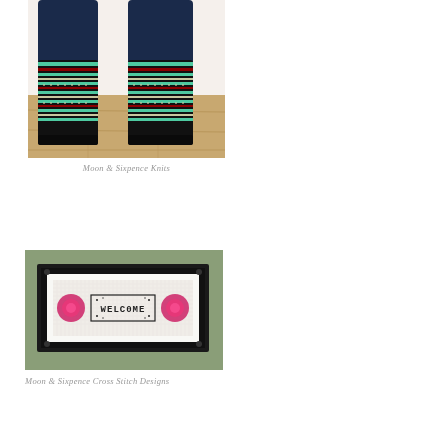[Figure (photo): A person's lower legs and feet wearing colorful patterned knitted socks with multicolor stripes and geometric patterns in teal, red, cream, and black on a wooden floor background.]
Moon & Sixpence Knits
[Figure (photo): A framed cross stitch design showing the word WELCOME with pink roses on either side, in a black rectangular frame against a sage green background.]
Moon & Sixpence Cross Stitch Designs